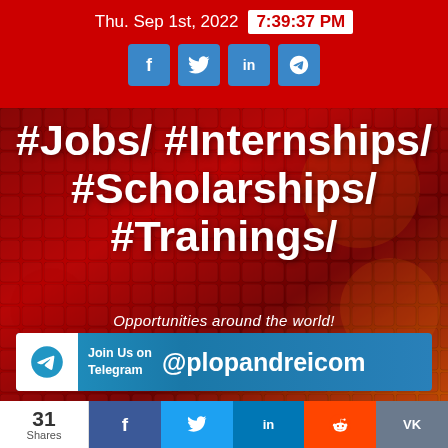Thu. Sep 1st, 2022  7:39:37 PM
[Figure (infographic): Social media promotional banner with dark red keyboard background showing hashtags: #Jobs/ #Internships/ #Scholarships/ #Trainings/ with subtitle 'Opportunities around the world!' and Telegram join banner '@plopandreicom']
#Jobs/ #Internships/ #Scholarships/ #Trainings/
Opportunities around the world!
Join Us on Telegram @plopandreicom
31 Shares  f  t  in  reddit  VK